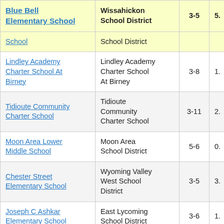| School | District | Grades | Value |
| --- | --- | --- | --- |
| Blue Bell Elementary School | Wissahickon School District | 3-5 | 5. |
| School | School District |  |  |
| Lindley Academy Charter School At Birney | Lindley Academy Charter School At Birney | 3-8 | 1. |
| Tidioute Community Charter School | Tidioute Community Charter School | 3-11 | 2. |
| Moon Area Lower Middle School | Moon Area School District | 5-6 | 0. |
| Chester Street Elementary School | Wyoming Valley West School District | 3-5 | 3. |
| Joseph C Ashkar Elementary School | East Lycoming School District | 3-6 | 1. |
| Cougar Academy | Harrisburg City School District | 3-10 | 1. |